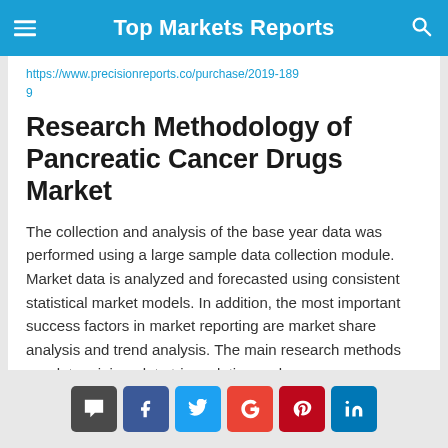Top Markets Reports
https://www.precisionreports.co/purchase/2019-109
Research Methodology of Pancreatic Cancer Drugs Market
The collection and analysis of the base year data was performed using a large sample data collection module. Market data is analyzed and forecasted using consistent statistical market models. In addition, the most important success factors in market reporting are market share analysis and trend analysis. The main research methods are data mining, data triangulation and